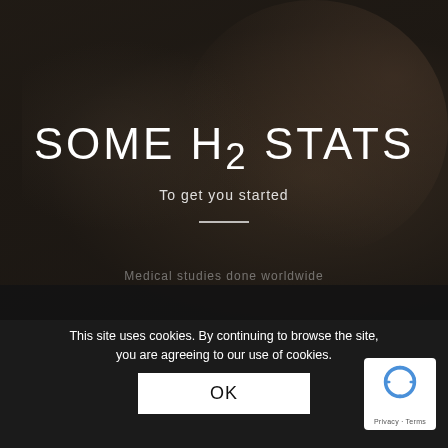[Figure (photo): Dark hero background photo showing a person (likely a parent with infant) in dim lighting with dark overlay]
SOME H2 STATS
To get you started
This site uses cookies. By continuing to browse the site, you are agreeing to our use of cookies.
OK
Medical studies done worldwide